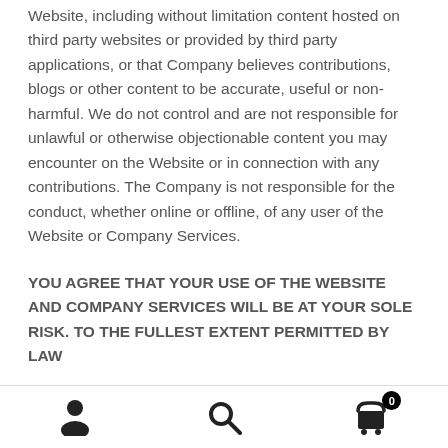Website, including without limitation content hosted on third party websites or provided by third party applications, or that Company believes contributions, blogs or other content to be accurate, useful or non-harmful. We do not control and are not responsible for unlawful or otherwise objectionable content you may encounter on the Website or in connection with any contributions. The Company is not responsible for the conduct, whether online or offline, of any user of the Website or Company Services.
YOU AGREE THAT YOUR USE OF THE WEBSITE AND COMPANY SERVICES WILL BE AT YOUR SOLE RISK. TO THE FULLEST EXTENT PERMITTED BY LAW
[Figure (infographic): Bottom navigation bar with three icons: user/person icon on the left, search/magnifying glass icon in the center, and shopping cart icon with badge showing '0' on the right.]